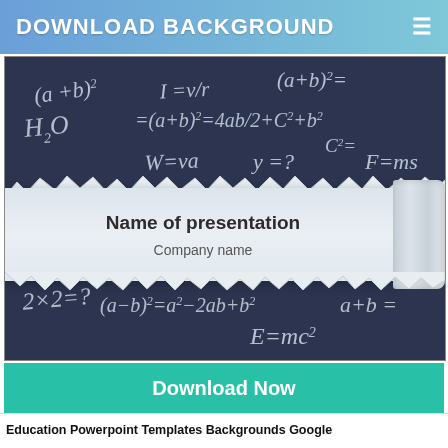DOWNLOAD BACKGROUND
[Figure (illustration): Chalkboard background with math formulas and equations written in chalk (top section): (a+b), I=v/r, (a+b)^2=, H2O, =(a+b)^2=4ab/2+C^2+b^2, W=va, y=?, C^2=, F=ms. Torn paper reveal in the middle showing 'Name of presentation' and 'Company name'. Bottom chalkboard section: m, x=?, 2x-4y=56, 2x2=?, (a-b)^2=a^2-2ab+b^2, m^2=a, a+b=, E=mc^2]
Name of presentation
Company name
Download Now
Education Powerpoint Templates Backgrounds Google